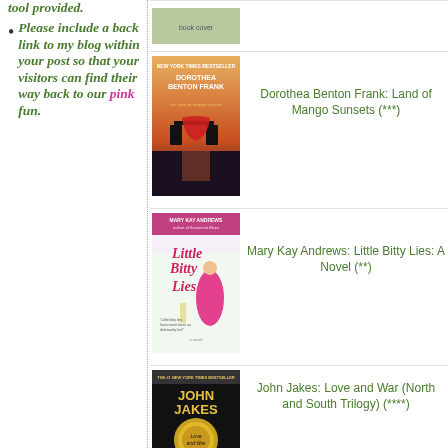tool provided.
Please include a back link to my blog within your post so that your visitors can find their way back to our pink fun.
[Figure (photo): Book cover - Dorothea Benton Frank: Land of Mango Sunsets]
Dorothea Benton Frank: Land of Mango Sunsets (***)
[Figure (photo): Book cover - Mary Kay Andrews: Little Bitty Lies: A Novel]
Mary Kay Andrews: Little Bitty Lies: A Novel (**)
[Figure (photo): Book cover - John Jakes: Love and War (North and South Trilogy)]
John Jakes: Love and War (North and South Trilogy) (****)